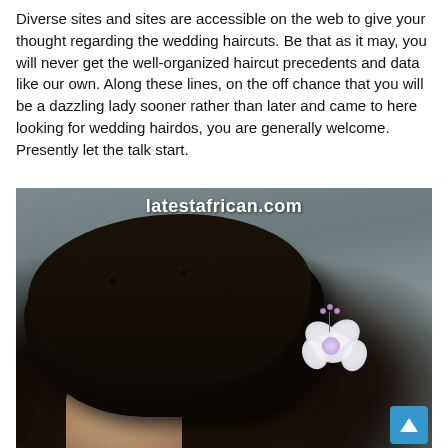Diverse sites and sites are accessible on the web to give your thought regarding the wedding haircuts. Be that as it may, you will never get the well-organized haircut precedents and data like our own. Along these lines, on the off chance that you will be a dazzling lady sooner rather than later and came to here looking for wedding hairdos, you are generally welcome. Presently let the talk start.
[Figure (photo): Close-up photo of a woman with natural curly black hair styled in an updo, adorned with a white flower and purple berry hair accessory. Watermark reads latestafrican.com. A blue back-to-top button is in the bottom right corner.]